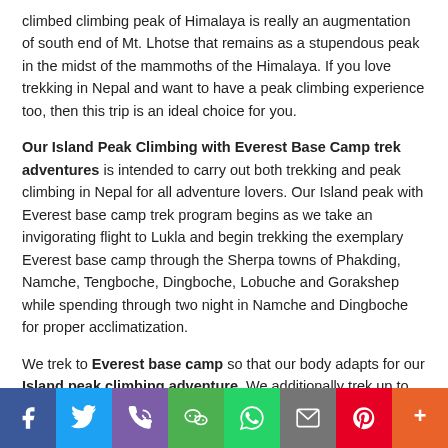climbed climbing peak of Himalaya is really an augmentation of south end of Mt. Lhotse that remains as a stupendous peak in the midst of the mammoths of the Himalaya. If you love trekking in Nepal and want to have a peak climbing experience too, then this trip is an ideal choice for you.
Our Island Peak Climbing with Everest Base Camp trek adventures is intended to carry out both trekking and peak climbing in Nepal for all adventure lovers. Our Island peak with Everest base camp trek program begins as we take an invigorating flight to Lukla and begin trekking the exemplary Everest base camp through the Sherpa towns of Phakding, Namche, Tengboche, Dingboche, Lobuche and Gorakshep while spending through two night in Namche and Dingboche for proper acclimatization.
We trek to Everest base camp so that our body adapts for our Island peak climbing adventure. We additionally trek up to Kala Patthar for best views of Everest and its neighboring
[Figure (other): Social sharing bar with icons for Facebook, Twitter, Phone, WeChat, WhatsApp, Email, Pinterest, and More (+)]